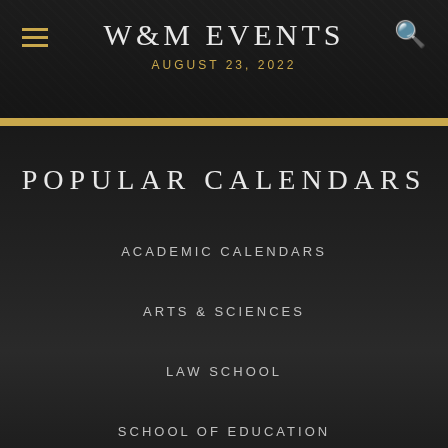W&M EVENTS
AUGUST 23, 2022
POPULAR CALENDARS
ACADEMIC CALENDARS
ARTS & SCIENCES
LAW SCHOOL
SCHOOL OF EDUCATION
ALUMNI ENGAGEMENT
WILLIAM & MARY ATHLETICS